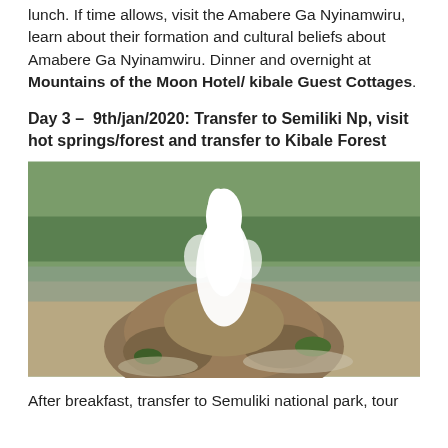lunch. If time allows, visit the Amabere Ga Nyinamwiru, learn about their formation and cultural beliefs about Amabere Ga Nyinamwiru. Dinner and overnight at Mountains of the Moon Hotel/ kibale Guest Cottages.
Day 3 – 9th/jan/2020: Transfer to Semiliki Np, visit hot springs/forest and transfer to Kibale Forest
[Figure (photo): A hot spring geyser erupting from a rocky mound formation surrounded by water and green vegetation in the background.]
After breakfast, transfer to Semuliki national park, tour